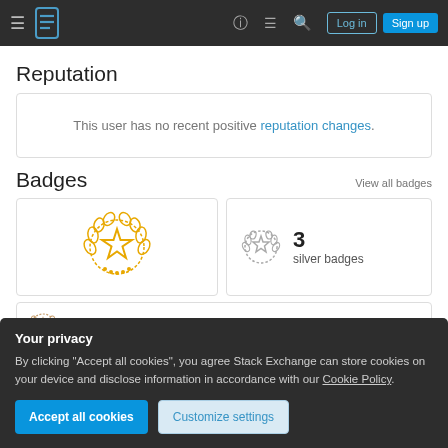Stack Exchange navigation bar with Log in and Sign up buttons
Reputation
This user has no recent positive reputation changes.
Badges
View all badges
[Figure (illustration): Gold badge icon (laurel wreath with star)]
3 silver badges
Your privacy
By clicking "Accept all cookies", you agree Stack Exchange can store cookies on your device and disclose information in accordance with our Cookie Policy.
Accept all cookies
Customize settings
10